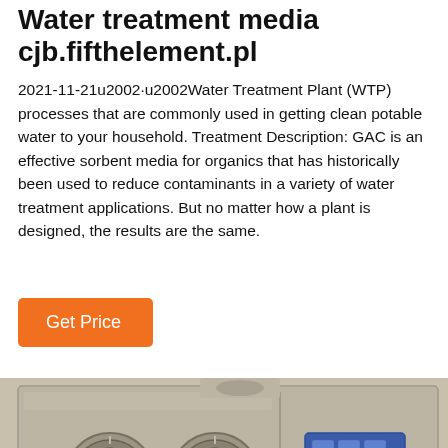Water treatment media cjb.fifthelement.pl
2021-11-21u2002·u2002Water Treatment Plant (WTP) processes that are commonly used in getting clean potable water to your household. Treatment Description: GAC is an effective sorbent media for organics that has historically been used to reduce contaminants in a variety of water treatment applications. But no matter how a plant is designed, the results are the same.
Get Price
[Figure (photo): Photograph of a beige/tan metal safe with two circular combination dial locks on the left side and a blue digital keypad on the right side, viewed from the front at close range.]